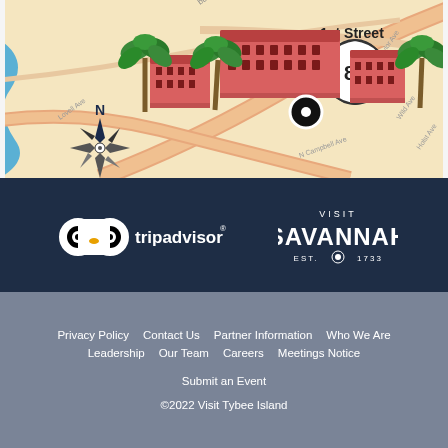[Figure (map): Illustrated map of Tybee Island area showing buildings, palm trees, compass rose, Route 80 shield, and 1st Street label]
[Figure (logo): TripAdvisor logo (owl icon with circles, white text) and Visit Savannah EST. 1733 logo, both on dark navy background]
Privacy Policy  Contact Us  Partner Information  Who We Are  Leadership  Our Team  Careers  Meetings Notice  Submit an Event  ©2022 Visit Tybee Island